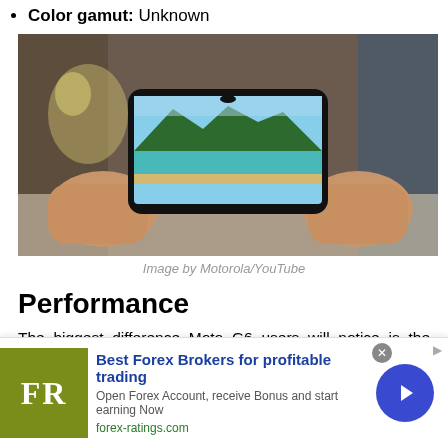Color gamut: Unknown
[Figure (photo): Hands holding a Motorola smartphone in landscape orientation displaying a scenic tropical beach/mountain landscape photo on screen]
Image by Motorola/YouTube
Performance
The biggest difference Moto G6 users will notice is the much improved SoC in the G7. Unlike its predecessor, the Moto G7 is using a true midrange chipset, the Qualcomm Snapdragon 632. While this isn't the best 600 series SoC, it is noticeably faster and
[Figure (other): Advertisement banner: Best Forex Brokers for profitable trading - FR logo, forex-ratings.com]